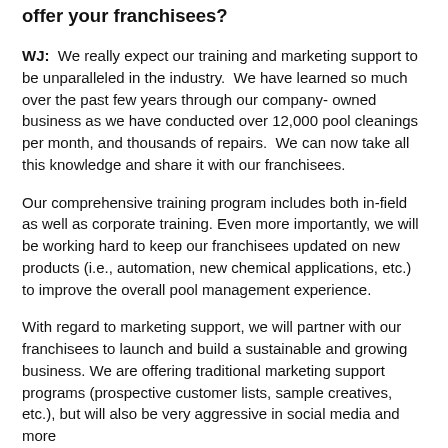offer your franchisees?
WJ:  We really expect our training and marketing support to be unparalleled in the industry.  We have learned so much over the past few years through our company- owned business as we have conducted over 12,000 pool cleanings per month, and thousands of repairs.  We can now take all this knowledge and share it with our franchisees.
Our comprehensive training program includes both in-field as well as corporate training. Even more importantly, we will be working hard to keep our franchisees updated on new products (i.e., automation, new chemical applications, etc.) to improve the overall pool management experience.
With regard to marketing support, we will partner with our franchisees to launch and build a sustainable and growing business. We are offering traditional marketing support programs (prospective customer lists, sample creatives, etc.), but will also be very aggressive in social media and more